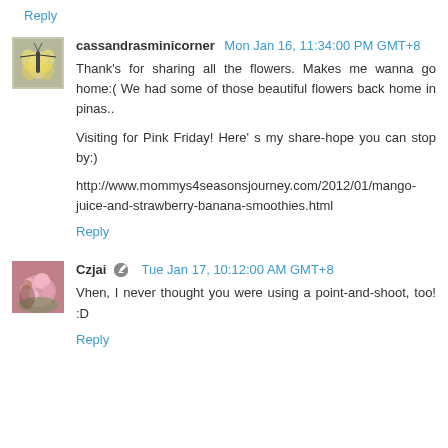Reply
[Figure (photo): Avatar image of a butterfly on a flower (swallowtail butterfly)]
cassandrasminicorner Mon Jan 16, 11:34:00 PM GMT+8
Thank's for sharing all the flowers. Makes me wanna go home:( We had some of those beautiful flowers back home in pinas..

Visiting for Pink Friday! Here' s my share-hope you can stop by:)

http://www.mommys4seasonsjourney.com/2012/01/mango-juice-and-strawberry-banana-smoothies.html
Reply
[Figure (photo): Avatar image of pink flowers, person visible]
Czjai Tue Jan 17, 10:12:00 AM GMT+8
Vhen, I never thought you were using a point-and-shoot, too! :D
Reply